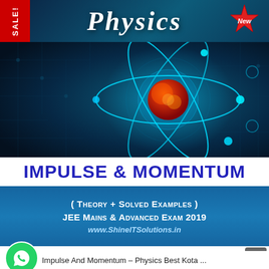[Figure (illustration): Book cover for Physics - Impulse & Momentum, JEE Mains & Advanced Exam 2019. Features a teal/dark blue top banner with italic bold 'Physics' title and a red star badge saying 'New'. A red 'SALE!' ribbon is on the top-left. Below is an atom/molecule illustration with glowing blue orbital rings and a central red-orange nucleus on a dark blue circuit-board background. Below the image is a white strip with 'Impulse & Momentum' in bold blue uppercase letters. Then a blue banner with '( Theory + Solved Examples )', 'JEE Mains & Advanced Exam 2019', and 'www.ShineITSolutions.in'. At the bottom: a WhatsApp icon with a 'Need help ??' speech bubble and a scroll-to-top button.]
Impulse And Momentum – Physics Best Kota ...